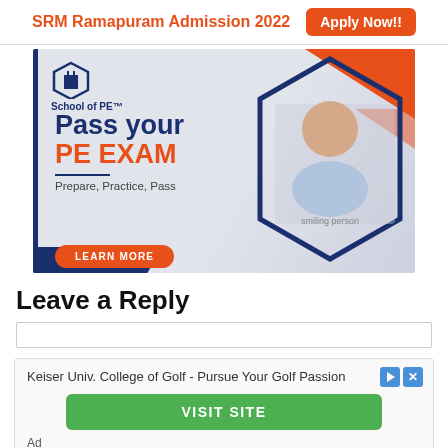SRM Ramapuram Admission 2022  Apply Now!!
[Figure (illustration): School of PE advertisement banner. Left side shows logo 'School of PE™', bold navy text 'Pass your' and orange text 'PE EXAM', tagline 'Prepare, Practice, Pass', and an orange 'LEARN MORE' button. Right side shows a man smiling at a desk with a hexagonal frame and orange/navy graphic accents.]
Leave a Reply
[Figure (screenshot): Keiser Univ. College of Golf - Pursue Your Golf Passion advertisement with a green 'VISIT SITE' button and 'Ad' label at bottom.]